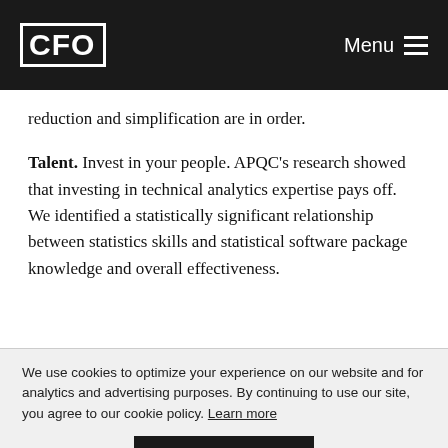CFO  Menu
reduction and simplification are in order.
Talent. Invest in your people. APQC's research showed that investing in technical analytics expertise pays off. We identified a statistically significant relationship between statistics skills and statistical software package knowledge and overall effectiveness.
We use cookies to optimize your experience on our website and for analytics and advertising purposes. By continuing to use our site, you agree to our cookie policy. Learn more
Got it!